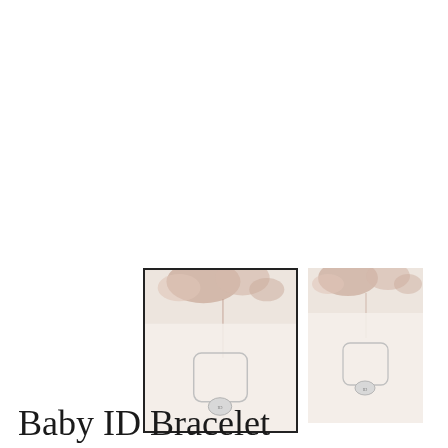[Figure (photo): Two product photos of a Baby ID Bracelet — a delicate silver chain bracelet with a small engraved heart/tag charm, displayed on a white surface with pink dried floral accents. The left image has a dark border/frame; the right image has no border.]
Baby ID Bracelet